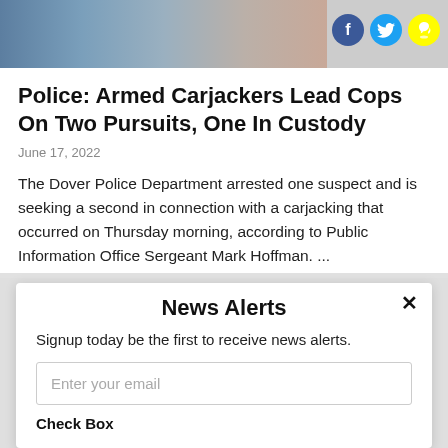[Figure (photo): Top banner image showing a person's face (partially visible), with Facebook, Twitter, and Snapchat social media icons in the top right corner.]
Police: Armed Carjackers Lead Cops On Two Pursuits, One In Custody
June 17, 2022
The Dover Police Department arrested one suspect and is seeking a second in connection with a carjacking that occurred on Thursday morning, according to Public Information Office Sergeant Mark Hoffman. ...
News Alerts
Signup today be the first to receive news alerts.
Enter your email
Check Box